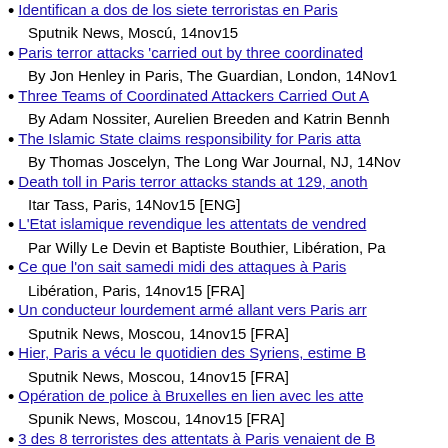Identifican a dos de los siete terroristas en Paris — Sputnik News, Moscú, 14nov15
Paris terror attacks 'carried out by three coordinated... — By Jon Henley in Paris, The Guardian, London, 14Nov1
Three Teams of Coordinated Attackers Carried Out A... — By Adam Nossiter, Aurelien Breeden and Katrin Bennh
The Islamic State claims responsibility for Paris atta... — By Thomas Joscelyn, The Long War Journal, NJ, 14Nov
Death toll in Paris terror attacks stands at 129, anoth... — Itar Tass, Paris, 14Nov15 [ENG]
L'Etat islamique revendique les attentats de vendred... — Par Willy Le Devin et Baptiste Bouthier, Libération, Pa
Ce que l'on sait samedi midi des attaques à Paris — Libération, Paris, 14nov15 [FRA]
Un conducteur lourdement armé allant vers Paris arr... — Sputnik News, Moscou, 14nov15 [FRA]
Hier, Paris a vécu le quotidien des Syriens, estime B... — Sputnik News, Moscou, 14nov15 [FRA]
Opération de police à Bruxelles en lien avec les atte... — Spunik News, Moscou, 14nov15 [FRA]
3 des 8 terroristes des attentats à Paris venaient de B... — Sputnik News, Moscou, 14nov15 [FRA]
Plus de 570 Français dans les rangs des djihadistes e... — Sputnik News, Moscú, 12nov15 [FRA] Back to top
France attack suspect admits killing, police make lin... — By Gregory Blachier, Reuters, Paris, 28Jun15 [ENG]